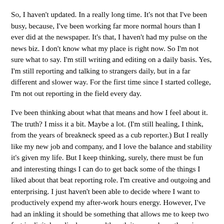So, I haven't updated. In a really long time. It's not that I've been busy, because, I've been working far more normal hours than I ever did at the newspaper. It's that, I haven't had my pulse on the news biz. I don't know what my place is right now. So I'm not sure what to say. I'm still writing and editing on a daily basis. Yes, I'm still reporting and talking to strangers daily, but in a far different and slower way. For the first time since I started college, I'm not out reporting in the field every day.
I've been thinking about what that means and how I feel about it. The truth? I miss it a bit. Maybe a lot. (I'm still healing, I think, from the years of breakneck speed as a cub reporter.) But I really like my new job and company, and I love the balance and stability it's given my life. But I keep thinking, surely, there must be fun and interesting things I can do to get back some of the things I liked about that beat reporting role. I'm creative and outgoing and enterprising. I just haven't been able to decide where I want to productively expend my after-work hours energy. However, I've had an inkling it should be something that allows me to keep two feet in digital media, because although its never been the primary role of my day job, it's always been and going to be a passion of mine.
So, today, I got the kick in the butt I think I need to start formulating something that will be a passion both here...